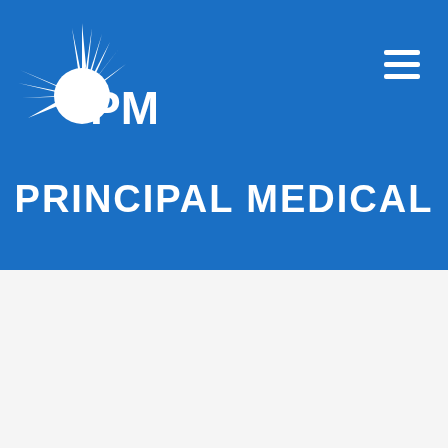[Figure (logo): PML Principal Medical logo — white sunburst/starburst icon on the left with white bold text 'PML' to its right, all on a blue background header. A hamburger menu icon (three horizontal white lines) is in the top-right corner.]
PRINCIPAL MEDICAL